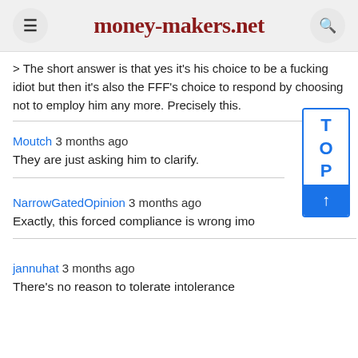money-makers.net
> The short answer is that yes it's his choice to be a fucking idiot but then it's also the FFF's choice to respond by choosing not to employ him any more. Precisely this.
Moutch 3 months ago
They are just asking him to clarify.
NarrowGatedOpinion 3 months ago
Exactly, this forced compliance is wrong imo
jannuhat 3 months ago
There's no reason to tolerate intolerance